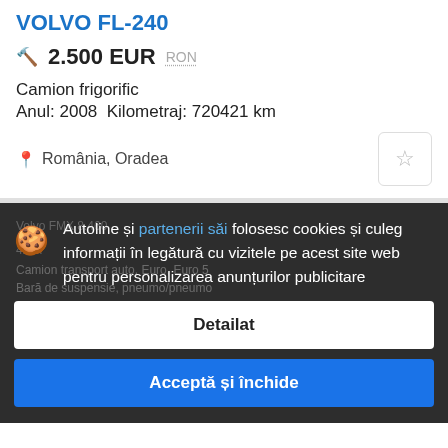VOLVO FL-240
2.500 EUR  RON
Camion frigorific
Anul: 2008  Kilometraj: 720421 km
România, Oradea
[Figure (screenshot): Cookie consent banner overlay on dark background showing listing details. Banner reads: Autoline și partenerii săi folosesc cookies și culeg informații în legătură cu vizitele pe acest site web pentru personalizarea anunțurilor publicitare. Two buttons: Detailat and Acceptă și închide.]
Autoline și partenerii săi folosesc cookies și culeg informații în legătură cu vizitele pe acest site web pentru personalizarea anunțurilor publicitare